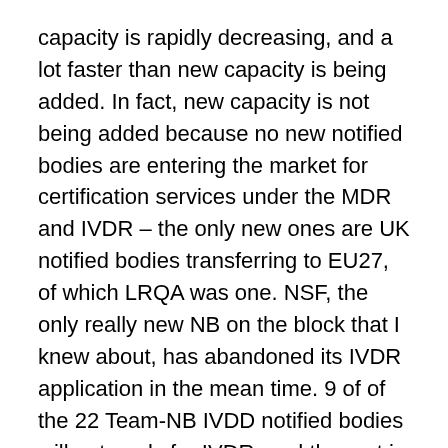capacity is rapidly decreasing, and a lot faster than new capacity is being added. In fact, new capacity is not being added because no new notified bodies are entering the market for certification services under the MDR and IVDR – the only new ones are UK notified bodies transferring to EU27, of which LRQA was one. NSF, the only really new NB on the block that I knew about, has abandoned its IVDR application in the mean time. 9 of of the 22 Team-NB IVDD notified bodies will not apply for IVDR, and the rest is in various stages of application or considering to apply for IVDR. MDR figures are also looking bleak.
You do not need to be a mathematical genius to see that with a projected increase of notified body workload of 780% (source: MedTech Europe) and a rapidly decreasing installed base of capacity of notified bodies, there will a bottleneck of bottlenecks. I predict that LRQA will not be